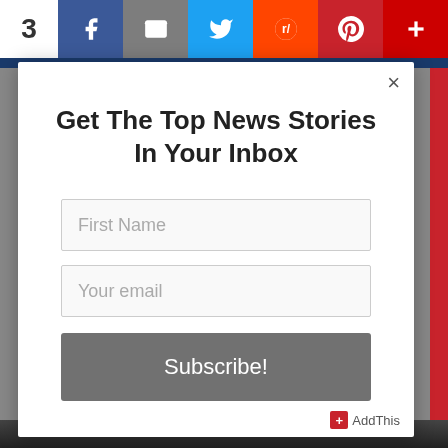[Figure (screenshot): Social share bar at top with share count '3' and buttons for Facebook, Email, Twitter, Reddit, Pinterest, and a plus button]
Get The Top News Stories In Your Inbox
[Figure (screenshot): Email subscription modal form with First Name input, Your email input, and Subscribe! button. AddThis branding in bottom right corner.]